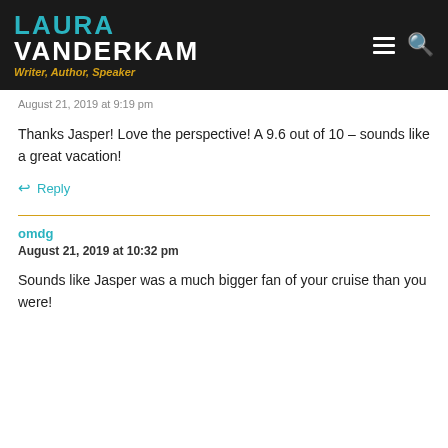LAURA VANDERKAM — Writer, Author, Speaker
August 21, 2019 at 9:19 pm
Thanks Jasper! Love the perspective! A 9.6 out of 10 – sounds like a great vacation!
↩ Reply
omdg
August 21, 2019 at 10:32 pm
Sounds like Jasper was a much bigger fan of your cruise than you were!